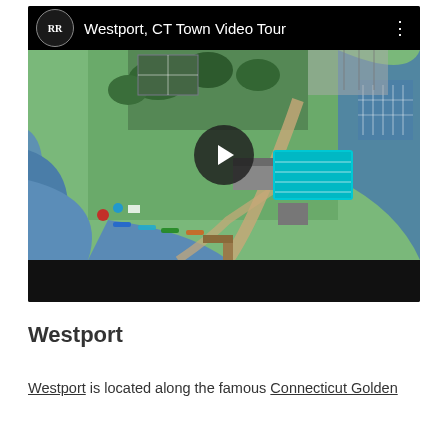[Figure (screenshot): YouTube-style video thumbnail showing aerial drone view of Westport, CT with a swimming pool and waterfront area. Video title reads 'Westport, CT Town Video Tour' with an RR logo on the left and a play button overlay in the center.]
Westport
Westport is located along the famous Connecticut Golden